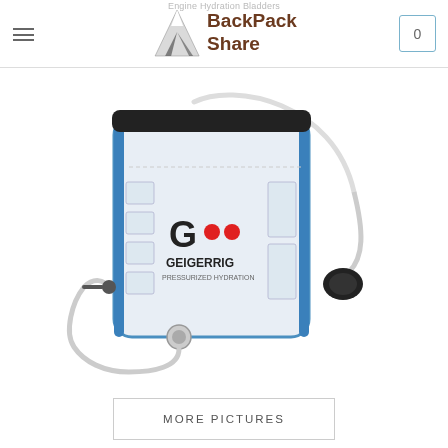BackPack Share
Engine Hydration Bladders
[Figure (photo): Geigerrig hydration bladder with clear reservoir, blue trim edges, black top cap, flexible tube with pump bulb and mouthpiece.]
MORE PICTURES